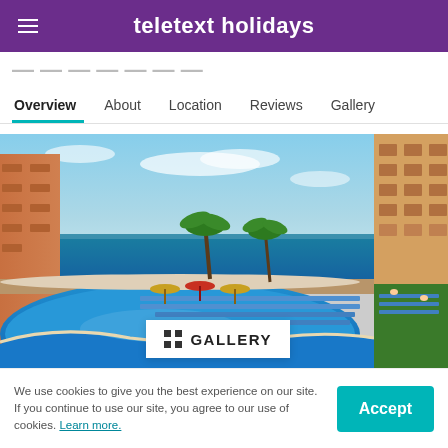teletext holidays
...
Overview  About  Location  Reviews  Gallery
[Figure (photo): Hotel pool area with blue pool, palm trees, sun loungers, and sea view in background. Partial view of adjacent hotel building on right side.]
We use cookies to give you the best experience on our site. If you continue to use our site, you agree to our use of cookies. Learn more.